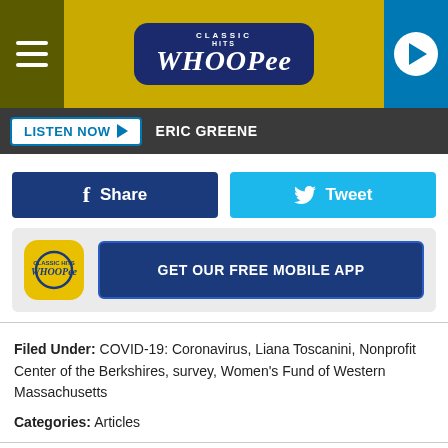Classic Hits Whoopee — hamburger menu, logo, play button
LISTEN NOW ▶  ERIC GREENE
f  Share
Tweet
[Figure (logo): Whoopee radio app icon logo (yellow background with navy badge)]
GET OUR FREE MOBILE APP
Filed Under: COVID-19: Coronavirus, Liana Toscanini, Nonprofit Center of the Berkshires, survey, Women's Fund of Western Massachusetts
Categories: Articles
Comments
LEAVE A COMMENT